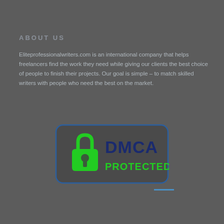ABOUT US
Eliteprofessionalwriters.com is an international company that helps freelancers find the work they need while giving our clients the best choice of people to finish their projects. Our goal is simple – to match skilled writers with people who need the best on the market.
[Figure (logo): DMCA Protected badge with green padlock icon and dark navy text reading DMCA PROTECTED in a rounded rectangle border]
—